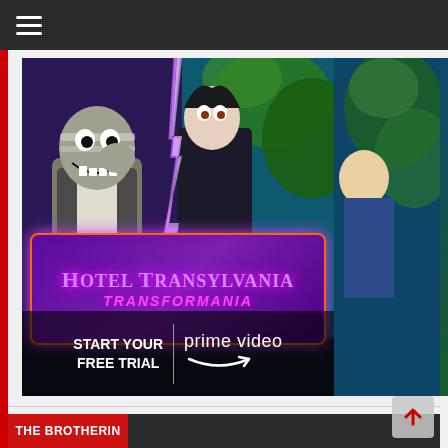≡ (hamburger menu)
[Figure (photo): Amazon Prime Video advertisement for Hotel Transylvania Transformania animated movie. Shows animated monster characters with lightning effects, a decorative purple banner with the movie title 'Hotel Transylvania Transforania', and a call to action 'Start Your Free Trial | prime video' with Amazon smile logo.]
[Figure (photo): Partial view of another promotional banner at bottom showing a dark background with a red section labeled 'THE BROTHERIN']
THE BROTHERIN